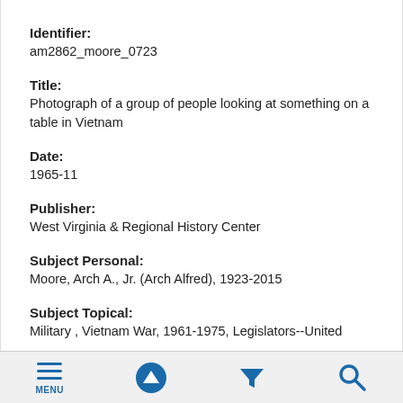Identifier:
am2862_moore_0723
Title:
Photograph of a group of people looking at something on a table in Vietnam
Date:
1965-11
Publisher:
West Virginia & Regional History Center
Subject Personal:
Moore, Arch A., Jr. (Arch Alfred), 1923-2015
Subject Topical:
Military , Vietnam War, 1961-1975, Legislators--United
MENU [up arrow] [filter] [search]